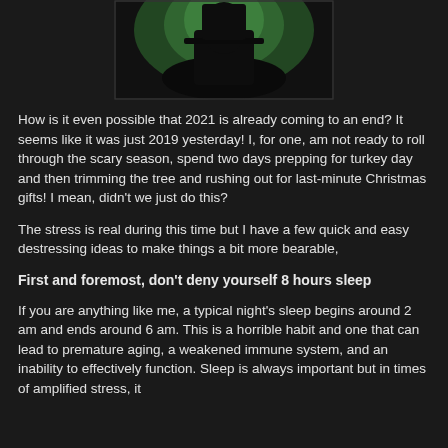[Figure (photo): Dark silhouette of a person against a green-lit background, partially cropped at top]
How is it even possible that 2021 is already coming to an end? It seems like it was just 2019 yesterday! I, for one, am not ready to roll through the scary season, spend two days prepping for turkey day and then trimming the tree and rushing out for last-minute Christmas gifts! I mean, didn't we just do this?
The stress is real during this time but I have a few quick and easy destressing ideas to make things a bit more bearable,
First and foremost, don't deny yourself 8 hours sleep
If you are anything like me, a typical night's sleep begins around 2 am and ends around 6 am. This is a horrible habit and one that can lead to premature aging, a weakened immune system, and an inability to effectively function. Sleep is always important but in times of amplified stress, it